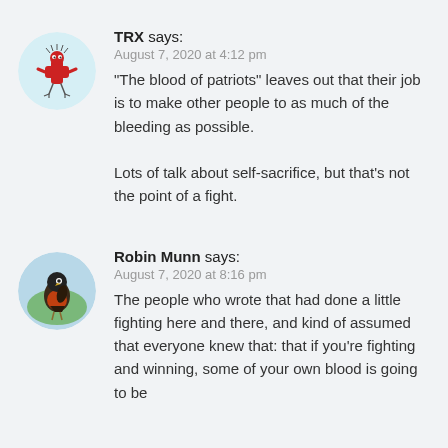[Figure (illustration): Circular avatar of TRX: cartoon red bird-like creature with spiky head and stick legs on light blue background]
TRX says:
August 7, 2020 at 4:12 pm
“The blood of patriots” leaves out that their job is to make other people to as much of the bleeding as possible.

Lots of talk about self-sacrifice, but that’s not the point of a fight.
[Figure (illustration): Circular avatar of Robin Munn: painting of a robin bird perched on a branch with greenery on light blue background]
Robin Munn says:
August 7, 2020 at 8:16 pm
The people who wrote that had done a little fighting here and there, and kind of assumed that everyone knew that: that if you’re fighting and winning, some of your own blood is going to be